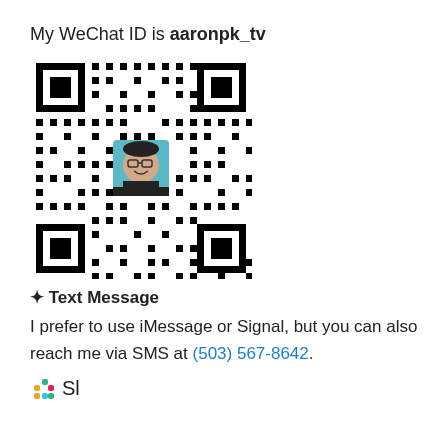My WeChat ID is aaronpk_tv
[Figure (other): QR code for WeChat ID aaronpk_tv with a profile photo of a smiling man in the center]
✦ Text Message
I prefer to use iMessage or Signal, but you can also reach me via SMS at (503) 567-8642.
Slack